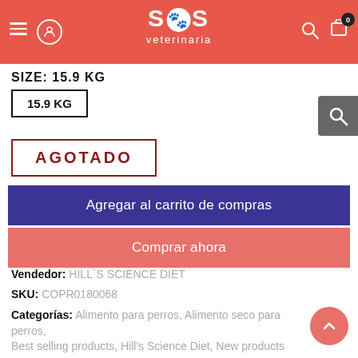[Figure (logo): SOS veterinaria logo with paw print icon, white text on red/salmon background header with hamburger menu, user icon, search icon, and cart with badge showing 0]
SIZE: 15.9 KG
15.9 KG
AGOTADO
Agregar al carrito de compras
Comprar ahora
Vendedor: HILL´S SCIENCE DIET
SKU: COPR0180068
Categorías: Alimento para perros, Alimento seco para perros, Best selling products, Hill's Science Diet, New products